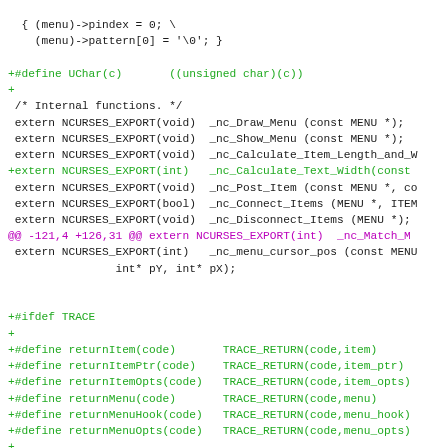Code diff showing changes to ncurses menu header file, including new UChar macro, internal function declarations, and TRACE-related debug functions